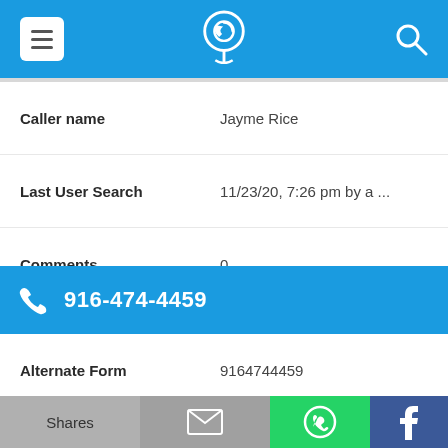[Figure (screenshot): Mobile app top navigation bar with hamburger menu, phone-location icon, and search icon on blue background]
| Caller name | Jayme Rice |
| Last User Search | 11/23/20, 7:26 pm by a ... |
| Comments | 0 |
916-474-4459
| Alternate Form | 9164744459 |
| Caller name | Charles Frost |
| Last User Search | 10/13/20, 3:31 ... |
[Figure (screenshot): Bottom share bar with Shares, email, WhatsApp, and Facebook buttons]